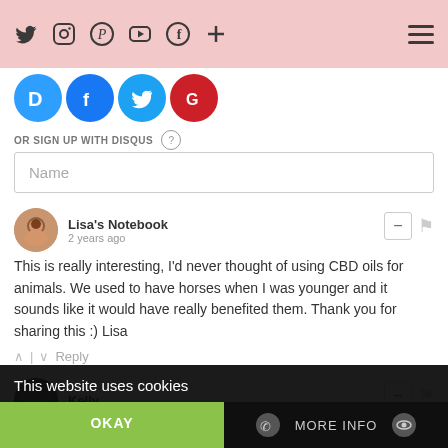Twitter, Instagram, Pinterest, YouTube, Facebook, + (social nav icons), hamburger menu
[Figure (screenshot): Partial social login icons (Disqus, Facebook, Twitter, Google) partially cut off at top]
OR SIGN UP WITH DISQUS ?
Name (input field placeholder)
Lisa's Notebook
2 years ago
This is really interesting, I'd never thought of using CBD oils for animals. We used to have horses when I was younger and it sounds like it would have really benefited them. Thank you for sharing this :) Lisa
Kelly
This website uses cookies
OKAY
MORE INFO